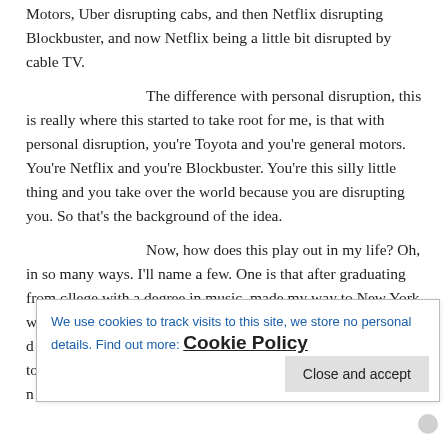Motors, Uber disrupting cabs, and then Netflix disrupting Blockbuster, and now Netflix being a little bit disrupted by cable TV.

The difference with personal disruption, this is really where this started to take root for me, is that with personal disruption, you're Toyota and you're general motors. You're Netflix and you're Blockbuster. You're this silly little thing and you take over the world because you are disrupting you. So that's the background of the idea.

Now, how does this play out in my life? Oh, in so many ways. I'll name a few. One is that after graduating from college with a degree in music, made my way to New York with my h... d... to... n...

because it's probably kind of obvious I'm a woman. I started as a
We use cookies to track visits to this site, we store no personal details. Find out more: Cookie Policy